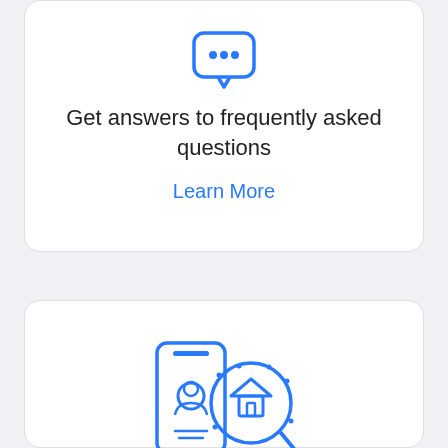[Figure (illustration): Blue chat bubble icon with three dots inside, above text content]
Get answers to frequently asked questions
Learn More
[Figure (illustration): Blue icon showing a smartphone with a person profile and a magnifying glass with a house/home symbol inside]